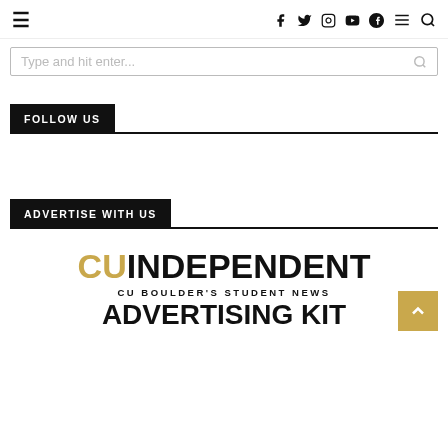≡   f  Twitter  Instagram  YouTube  Spotify  ≡  🔍
[Figure (screenshot): Search bar with placeholder text 'Type and hit enter...' and a search icon on the right]
FOLLOW US
ADVERTISE WITH US
[Figure (logo): CU Independent logo with 'CU' in gold and 'INDEPENDENT' in black, subtitle 'CU BOULDER'S STUDENT NEWS', and 'ADVERTISING KIT' text below]